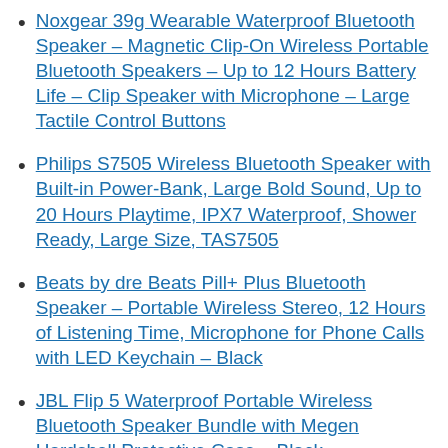Noxgear 39g Wearable Waterproof Bluetooth Speaker – Magnetic Clip-On Wireless Portable Bluetooth Speakers – Up to 12 Hours Battery Life – Clip Speaker with Microphone – Large Tactile Control Buttons
Philips S7505 Wireless Bluetooth Speaker with Built-in Power-Bank, Large Bold Sound, Up to 20 Hours Playtime, IPX7 Waterproof, Shower Ready, Large Size, TAS7505
Beats by dre Beats Pill+ Plus Bluetooth Speaker – Portable Wireless Stereo, 12 Hours of Listening Time, Microphone for Phone Calls with LED Keychain – Black
JBL Flip 5 Waterproof Portable Wireless Bluetooth Speaker Bundle with Megen Hardshell Protective Case – Black
Bluetooth Speaker,ZEALOT 80W Portable